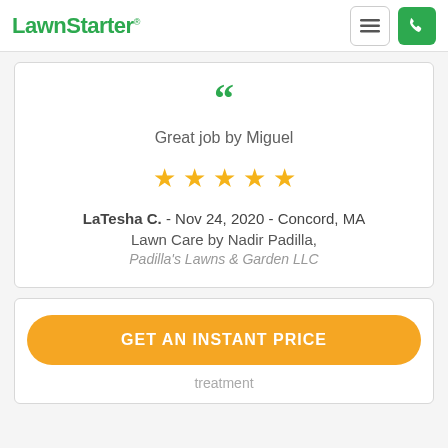LawnStarter
Great job by Miguel
[Figure (infographic): Five gold star rating]
LaTesha C. - Nov 24, 2020 - Concord, MA
Lawn Care by Nadir Padilla,
Padilla's Lawns & Garden LLC
GET AN INSTANT PRICE
treatment